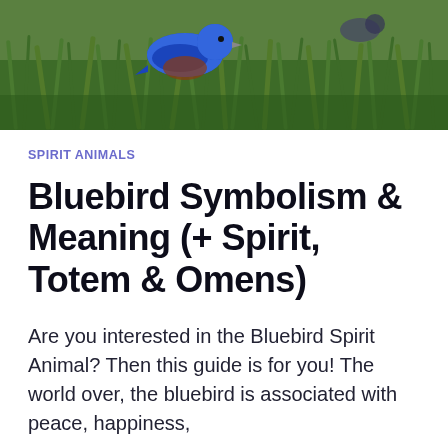[Figure (photo): Bluebird perched among green grass/foliage, seen from above, with blue plumage visible at top]
SPIRIT ANIMALS
Bluebird Symbolism & Meaning (+ Spirit, Totem & Omens)
Are you interested in the Bluebird Spirit Animal? Then this guide is for you! The world over, the bluebird is associated with peace, happiness, and contentment. This is because of